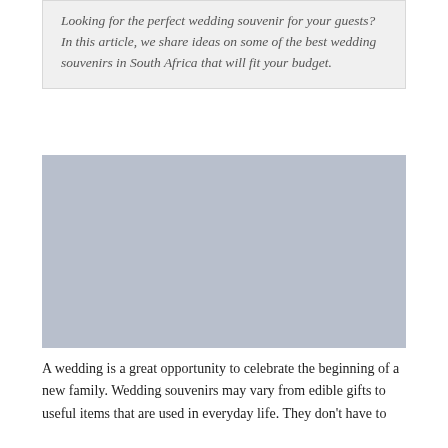Looking for the perfect wedding souvenir for your guests? In this article, we share ideas on some of the best wedding souvenirs in South Africa that will fit your budget.
[Figure (photo): A large placeholder/image area with a muted blue-grey background, representing a wedding-related photograph.]
A wedding is a great opportunity to celebrate the beginning of a new family. Wedding souvenirs may vary from edible gifts to useful items that are used in everyday life. They don't have to